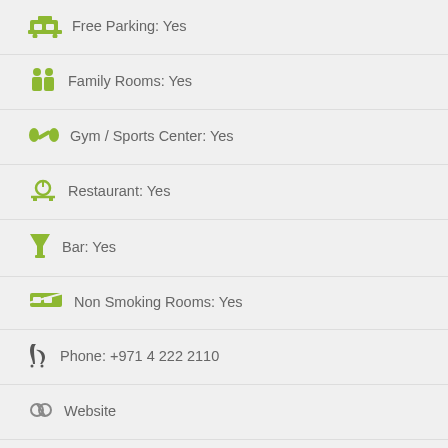Free Parking: Yes
Family Rooms: Yes
Gym / Sports Center: Yes
Restaurant: Yes
Bar: Yes
Non Smoking Rooms: Yes
Phone: +971 4 222 2110
Website
Facebook